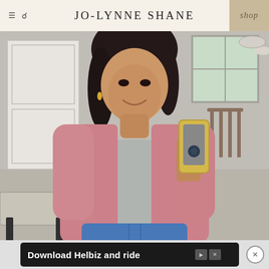JO-LYNNE SHANE
[Figure (photo): Woman taking a mirror selfie wearing a pink cardigan over a gray tank top and blue jeans, holding a gold iPhone, in a home interior with white doors and windows]
Download Helbiz and ride